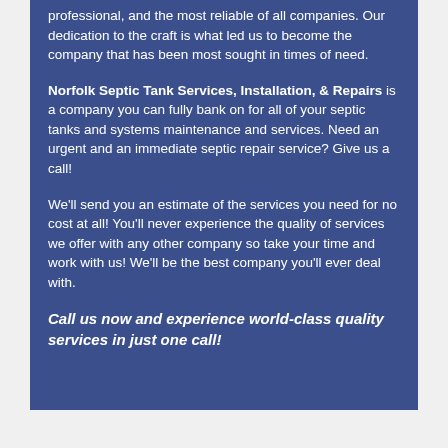professional, and the most reliable of all companies. Our dedication to the craft is what led us to become the company that has been most sought in times of need.
Norfolk Septic Tank Services, Installation, & Repairs is a company you can fully bank on for all of your septic tanks and systems maintenance and services. Need an urgent and an immediate septic repair service? Give us a call!
We'll send you an estimate of the services you need for no cost at all! You'll never experience the quality of services we offer with any other company so take your time and work with us! We'll be the best company you'll ever deal with.
Call us now and experience world-class quality services in just one call!